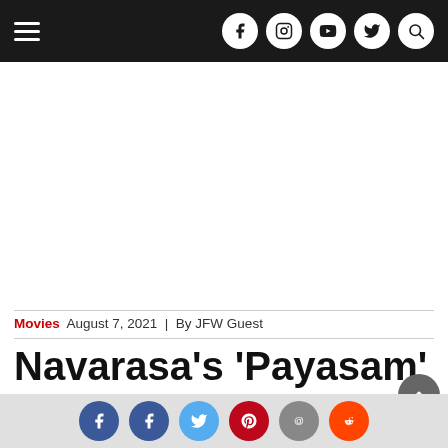Navigation bar with hamburger menu and social icons (Facebook, Instagram, YouTube, Twitter, Search)
[Figure (other): White advertisement/banner area]
Movies  August 7, 2021  |  By JFW Guest
Navarasa's 'Payasam' : An Episode That Did
Social share icons: Facebook, Facebook, Twitter, Pinterest, Email, Reddit